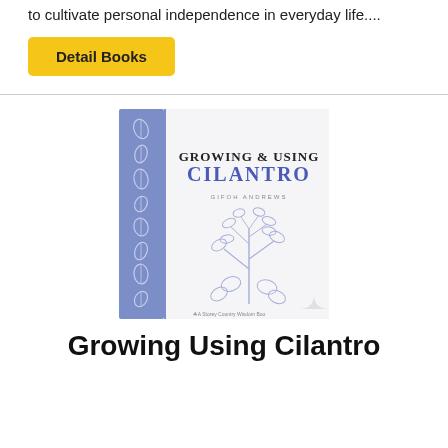to cultivate personal independence in everyday life....
Detail Books
[Figure (illustration): Book cover of 'Growing & Using Cilantro' — a Storey Country Wisdom Book, featuring a blue decorative left spine with leaf illustrations, and a cilantro plant botanical illustration on the right side. Author name displayed in small caps. Text reads: GROWING & USING CILANTRO, Gifoh Andrews, A Storey Country Wisdom Book.]
Growing Using Cilantro